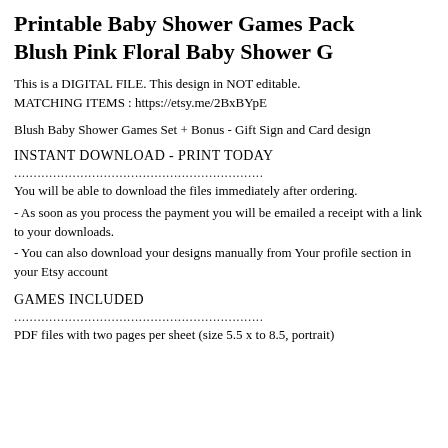Printable Baby Shower Games Pack Blush Pink Floral Baby Shower G
This is a DIGITAL FILE. This design in NOT editable.
MATCHING ITEMS : https://etsy.me/2BxBYpE
Blush Baby Shower Games Set + Bonus - Gift Sign and Card design
INSTANT DOWNLOAD - PRINT TODAY
You will be able to download the files immediately after ordering.
- As soon as you process the payment you will be emailed a receipt with a link to your downloads.
- You can also download your designs manually from Your profile section in your Etsy account
GAMES INCLUDED
PDF files with two pages per sheet (size 5.5 x to 8.5, portrait)